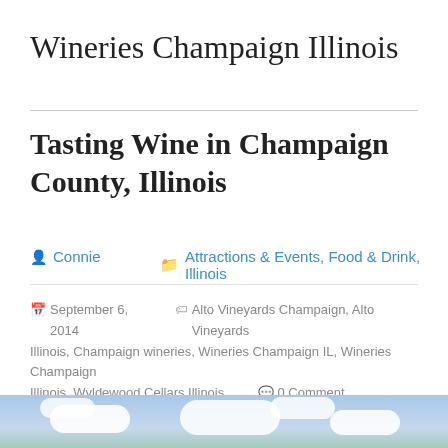Wineries Champaign Illinois
Tasting Wine in Champaign County, Illinois
Connie   Attractions & Events, Food & Drink, Illinois
September 6, 2014   Alto Vineyards Champaign, Alto Vineyards Illinois, Champaign wineries, Wineries Champaign IL, Wineries Champaign Illinois, Wyldewood Cellars Illinois   0 Comment
[Figure (photo): Outdoor scenic photo showing green trees in the foreground against a blue sky with white clouds, likely a vineyard or winery landscape]